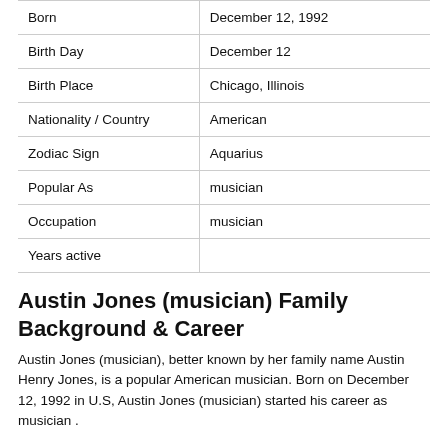| Field | Value |
| --- | --- |
| Born | December 12, 1992 |
| Birth Day | December 12 |
| Birth Place | Chicago, Illinois |
| Nationality / Country | American |
| Zodiac Sign | Aquarius |
| Popular As | musician |
| Occupation | musician |
| Years active |  |
Austin Jones (musician) Family Background & Career
Austin Jones (musician), better known by her family name Austin Henry Jones, is a popular American musician. Born on December 12, 1992 in U.S, Austin Jones (musician) started his career as musician .